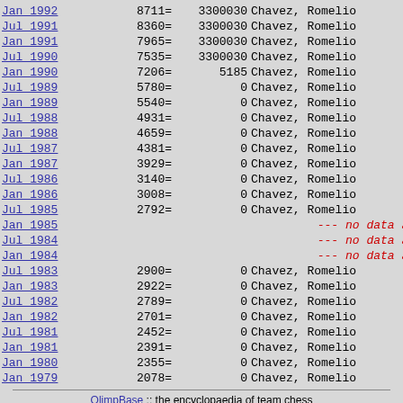| Date | Rating | ID | Name |
| --- | --- | --- | --- |
| Jan 1992 | 8711= | 3300030 | Chavez, Romelio |
| Jul 1991 | 8360= | 3300030 | Chavez, Romelio |
| Jan 1991 | 7965= | 3300030 | Chavez, Romelio |
| Jul 1990 | 7535= | 3300030 | Chavez, Romelio |
| Jan 1990 | 7206= | 5185 | Chavez, Romelio |
| Jul 1989 | 5780= | 0 | Chavez, Romelio |
| Jan 1989 | 5540= | 0 | Chavez, Romelio |
| Jul 1988 | 4931= | 0 | Chavez, Romelio |
| Jan 1988 | 4659= | 0 | Chavez, Romelio |
| Jul 1987 | 4381= | 0 | Chavez, Romelio |
| Jan 1987 | 3929= | 0 | Chavez, Romelio |
| Jul 1986 | 3140= | 0 | Chavez, Romelio |
| Jan 1986 | 3008= | 0 | Chavez, Romelio |
| Jul 1985 | 2792= | 0 | Chavez, Romelio |
| Jan 1985 |  |  | --- no data av |
| Jul 1984 |  |  | --- no data av |
| Jan 1984 |  |  | --- no data av |
| Jul 1983 | 2900= | 0 | Chavez, Romelio |
| Jan 1983 | 2922= | 0 | Chavez, Romelio |
| Jul 1982 | 2789= | 0 | Chavez, Romelio |
| Jan 1982 | 2701= | 0 | Chavez, Romelio |
| Jul 1981 | 2452= | 0 | Chavez, Romelio |
| Jan 1981 | 2391= | 0 | Chavez, Romelio |
| Jan 1980 | 2355= | 0 | Chavez, Romelio |
| Jan 1979 | 2078= | 0 | Chavez, Romelio |
OlimpBase :: the encyclopaedia of team chess
Please send us your comments and corrections.
Wojciech Bartelski & Co. (C) 2003-2020